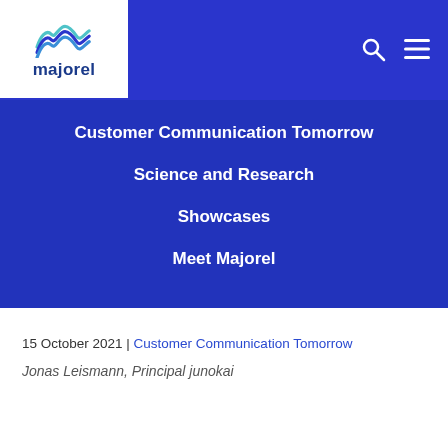majorel
Customer Communication Tomorrow
Science and Research
Showcases
Meet Majorel
15 October 2021 | Customer Communication Tomorrow
Jonas Leismann, Principal junokai